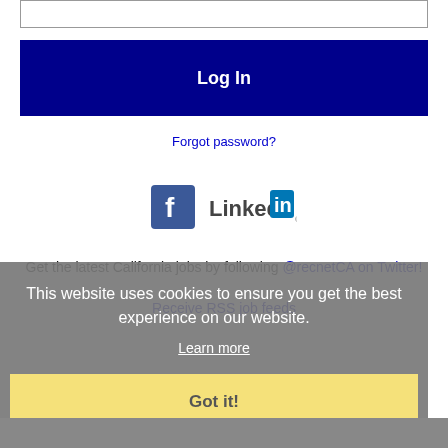[Figure (screenshot): Login form input box (password field)]
[Figure (screenshot): Log In button, dark navy blue background with white bold text]
Forgot password?
[Figure (logo): Facebook logo icon and LinkedIn logo icon side by side]
Get the latest California jobs by following @recnetCA on Twitter!
Receive RSS job feeds
This website uses cookies to ensure you get the best experience on our website.
Learn more
Got it!